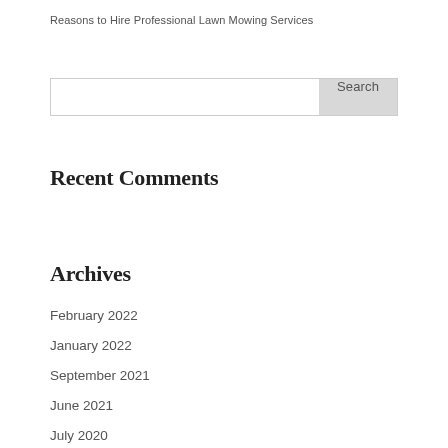Reasons to Hire Professional Lawn Mowing Services
[Figure (other): Search bar with text input field and Search button]
Recent Comments
Archives
February 2022
January 2022
September 2021
June 2021
July 2020